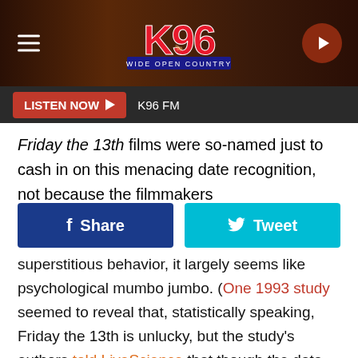[Figure (screenshot): K96 radio station website header with logo, hamburger menu, and play button on dark brown background]
LISTEN NOW ▶  K96 FM
Friday the 13th films were so-named just to cash in on this menacing date recognition, not because the filmmakers
[Figure (other): Social sharing buttons: Facebook Share button (dark blue) and Twitter Tweet button (cyan)]
superstitious behavior, it largely seems like psychological mumbo jumbo. (One 1993 study seemed to reveal that, statistically speaking, Friday the 13th is unlucky, but the study's authors told LiveScience that though the data was accurate, "the paper was just a bit of fun and not to be taken seriously." Other studies have shown no correlation between things like increased accidents or injuries and Friday the 13th.) And Friday the 13th isn't a big deal in other cultures, which have their own unlucky days: Greeks and Spanish-